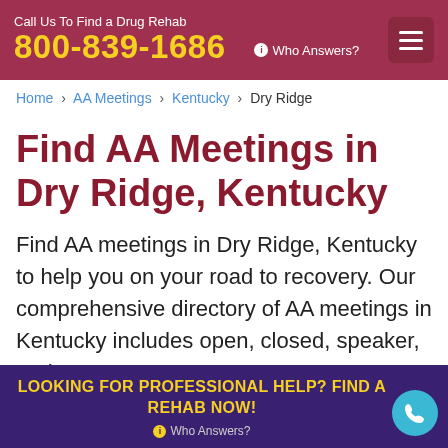Call Us To Find a Drug Rehab 800-839-1686 • Who Answers?
Home › AA Meetings › Kentucky › Dry Ridge
Find AA Meetings in Dry Ridge, Kentucky
Find AA meetings in Dry Ridge, Kentucky to help you on your road to recovery. Our comprehensive directory of AA meetings in Kentucky includes open, closed, speaker, and other meeting types to find the
LOOKING FOR PROFESSIONAL HELP? FIND A REHAB NOW! • Who Answers?